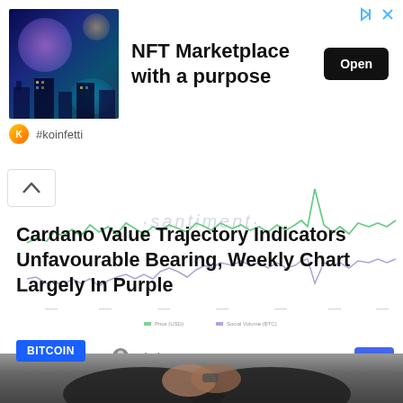[Figure (advertisement): NFT Marketplace ad banner with colorful digital art image on left, title 'NFT Marketplace with a purpose', Open button, and #koinfetti brand name]
[Figure (continuous-plot): Santiment line chart showing Bitcoin price (green) and another metric (purple/blue) over time, with a sharp spike near the right side]
BITCOIN
Cardano Value Trajectory Indicators Unfavourable Bearing, Weekly Chart Largely In Purple
1 hour ago   admin